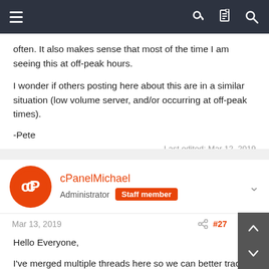Navigation bar with menu, key, document, and search icons
often. It also makes sense that most of the time I am seeing this at off-peak hours.
I wonder if others posting here about this are in a similar situation (low volume server, and/or occurring at off-peak times).
-Pete
Last edited: Mar 12, 2019
cPanelMichael
Administrator  Staff member
Mar 13, 2019  #27
Hello Everyone,
I've merged multiple threads here so we can better track reports of this happening.